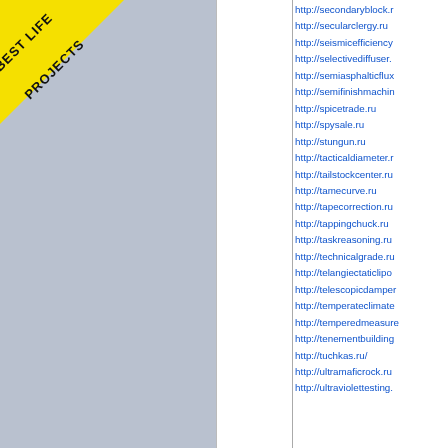[Figure (illustration): Yellow diagonal badge in top-left corner reading 'BEST LIFE PROJECTS' in black bold text on yellow background]
http://secondaryblock.r...
http://secularclergy.ru
http://seismicefficiency...
http://selectivediffuser....
http://semiasphalticflux...
http://semifinishmachin...
http://spicetrade.ru
http://spysale.ru
http://stungun.ru
http://tacticaldiameter.r...
http://tailstockcenter.ru...
http://tamecurve.ru
http://tapecorrection.ru...
http://tappingchuck.ru
http://taskreasoning.ru...
http://technicalgrade.ru...
http://telangiectaticlipo...
http://telescopicdamper...
http://temperateclimate...
http://temperedmeasure...
http://tenementbuilding...
http://tuchkas.ru/
http://ultramaficrock.ru...
http://ultraviolettesting....
Ed Hardy For Women